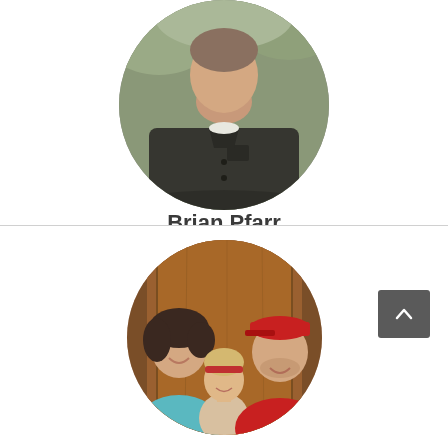[Figure (photo): Circular portrait photo of Brian Pfarr, a man wearing a dark grey/charcoal button-up shirt, photographed outdoors with green foliage in the background.]
Brian Pfarr
Lead on the Minnesota Health Coalition
[Figure (photo): Circular family photo showing a woman with dark curly hair smiling, a young blonde toddler girl in the middle, and a man wearing a red hoodie and red baseball cap, posed in front of a wooden door/cabinet background.]